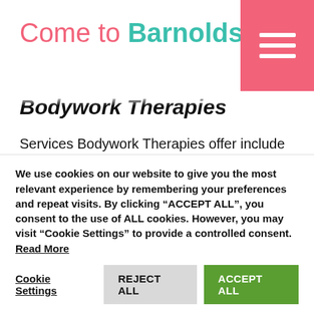Come to Barnoldswick
Bodywork Therapies
Services Bodywork Therapies offer include Sports Massage, Kinesio Taping, Swedish Massage, Deep Tissue Massage, Pregnancy Massage, The Dorn Therapy and Breuss Massage, Hot Stones / Hot Bamboo Massage, Detox Massage, Hopi Ear Candling, Table Thai Massage, Holistic Facial Well...
We use cookies on our website to give you the most relevant experience by remembering your preferences and repeat visits. By clicking “ACCEPT ALL”, you consent to the use of ALL cookies. However, you may visit “Cookie Settings” to provide a controlled consent. Read More
Cookie Settings | REJECT ALL | ACCEPT ALL